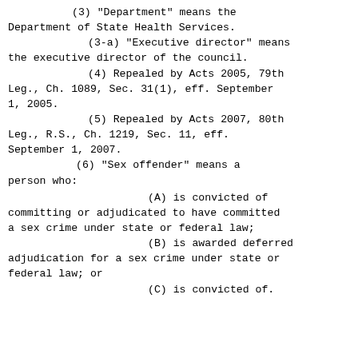(3)  "Department" means the Department of State Health Services.
(3-a)  "Executive director" means the executive director of the council.
(4)  Repealed by Acts 2005, 79th Leg., Ch. 1089, Sec. 31(1), eff. September 1, 2005.
(5)  Repealed by Acts 2007, 80th Leg., R.S., Ch. 1219, Sec. 11, eff. September 1, 2007.
(6)  "Sex offender" means a person who:
(A)  is convicted of committing or adjudicated to have committed a sex crime under state or federal law;
(B)  is awarded deferred adjudication for a sex crime under state or federal law;  or
(C)  is convicted of.